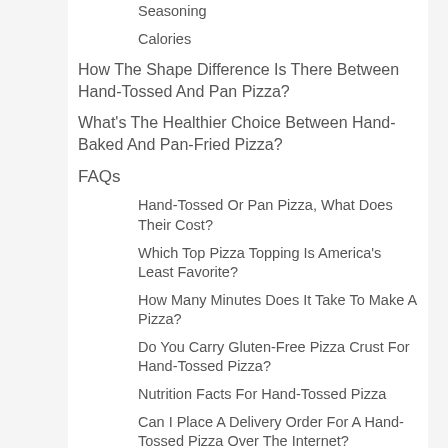Seasoning
Calories
How The Shape Difference Is There Between Hand-Tossed And Pan Pizza?
What's The Healthier Choice Between Hand-Baked And Pan-Fried Pizza?
FAQs
Hand-Tossed Or Pan Pizza, What Does Their Cost?
Which Top Pizza Topping Is America's Least Favorite?
How Many Minutes Does It Take To Make A Pizza?
Do You Carry Gluten-Free Pizza Crust For Hand-Tossed Pizza?
Nutrition Facts For Hand-Tossed Pizza
Can I Place A Delivery Order For A Hand-Tossed Pizza Over The Internet?
Can Lactose Intolerant People Still Eat Hand